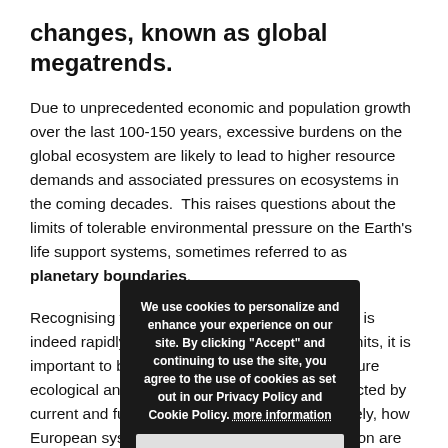changes, known as global megatrends.
Due to unprecedented economic and population growth over the last 100-150 years, excessive burdens on the global ecosystem are likely to lead to higher resource demands and associated pressures on ecosystems in the coming decades.  This raises questions about the limits of tolerable environmental pressure on the Earth's life support systems, sometimes referred to as planetary boundaries.
Recognising that the total environmental burden is indeed rapidly moving towards unsustainable limits, it is important to better understand how Europe's future ecological and societal development will be affected by current and future global changes, and conversely, how European systems of production and consumption are
[Figure (other): Cookie consent popup overlay with dark background. Text reads: 'We use cookies to personalize and enhance your experience on our site. By clicking "Accept" and continuing to use the site, you agree to the use of cookies as set out in our Privacy Policy and Cookie Policy. more information' with an ACCEPT button.]